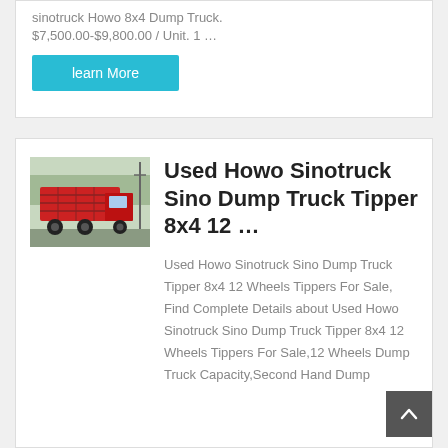sinotruck Howo 8x4 Dump Truck. $7,500.00-$9,800.00 / Unit. 1 …
learn More
[Figure (photo): Photo of a red used Howo Sinotruck dump truck tipper parked outdoors]
Used Howo Sinotruck Sino Dump Truck Tipper 8x4 12 …
Used Howo Sinotruck Sino Dump Truck Tipper 8x4 12 Wheels Tippers For Sale, Find Complete Details about Used Howo Sinotruck Sino Dump Truck Tipper 8x4 12 Wheels Tippers For Sale,12 Wheels Dump Truck Capacity,Second Hand Dump